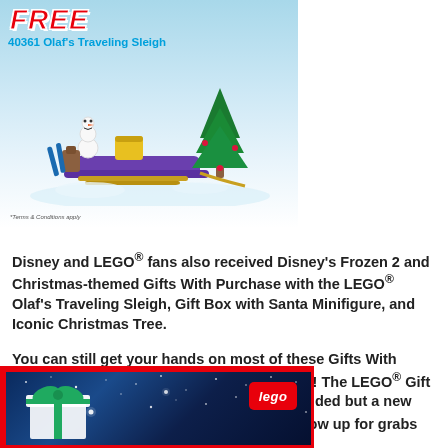[Figure (photo): LEGO set 40361 Olaf's Traveling Sleigh product image with FREE banner and product name on a snowy background]
Disney and LEGO® fans also received Disney's Frozen 2 and Christmas-themed Gifts With Purchase with the LEGO® Olaf's Traveling Sleigh, Gift Box with Santa Minifigure, and Iconic Christmas Tree.
You can still get your hands on most of these Gifts With Purchase as most of them are still available! The LEGO® Gift Box with Santa Minifigure promotion has ended but a new LEGO® Microscale Gingerbread House is now up for grabs in December!
[Figure (photo): LEGO gift card or promotional image with a gift box icon on a dark blue starry background with LEGO logo, framed in red]